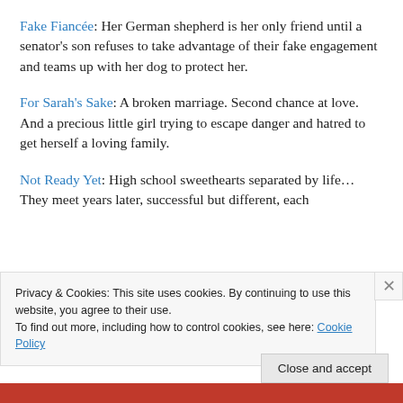Fake Fiancée: Her German shepherd is her only friend until a senator's son refuses to take advantage of their fake engagement and teams up with her dog to protect her.
For Sarah's Sake: A broken marriage. Second chance at love. And a precious little girl trying to escape danger and hatred to get herself a loving family.
Not Ready Yet: High school sweethearts separated by life…They meet years later, successful but different, each
Privacy & Cookies: This site uses cookies. By continuing to use this website, you agree to their use.
To find out more, including how to control cookies, see here: Cookie Policy